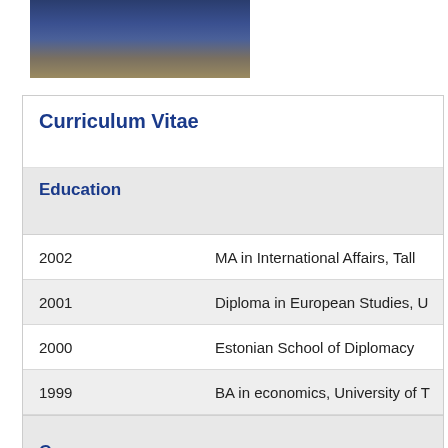[Figure (photo): Partial photograph of a person wearing a dark navy pinstripe suit, cropped at the top of the page]
Curriculum Vitae
Education
| Year | Qualification |
| --- | --- |
| 2002 | MA in International Affairs, Tall |
| 2001 | Diploma in European Studies, U |
| 2000 | Estonian School of Diplomacy |
| 1999 | BA in economics, University of T |
Career